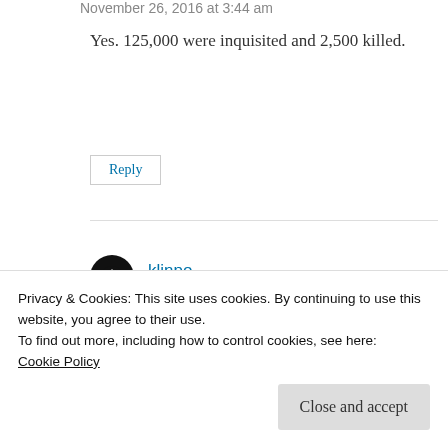November 26, 2016 at 3:44 am (partial, cut off at top)
Yes. 125,000 were inquisited and 2,500 killed.
Reply
klinpo
November 26, 2016 at 3:16 am
Privacy & Cookies: This site uses cookies. By continuing to use this website, you agree to their use.
To find out more, including how to control cookies, see here:
Cookie Policy
Close and accept